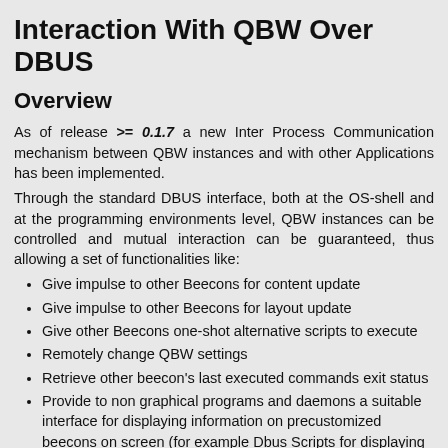Interaction With QBW Over DBUS
Overview
As of release >= 0.1.7 a new Inter Process Communication mechanism between QBW instances and with other Applications has been implemented.
Through the standard DBUS interface, both at the OS-shell and at the programming environments level, QBW instances can be controlled and mutual interaction can be guaranteed, thus allowing a set of functionalities like:
Give impulse to other Beecons for content update
Give impulse to other Beecons for layout update
Give other Beecons one-shot alternative scripts to execute
Remotely change QBW settings
Retrieve other beecon's last executed commands exit status
Provide to non graphical programs and daemons a suitable interface for displaying information on precustomized beecons on screen (for example Dbus Scripts for displaying events on the system/session DBUS like battery changes, available WLANs and the like)
I encourage you to suggest possible enhancements or wishlists in the wiki and report them in the main TALK thread